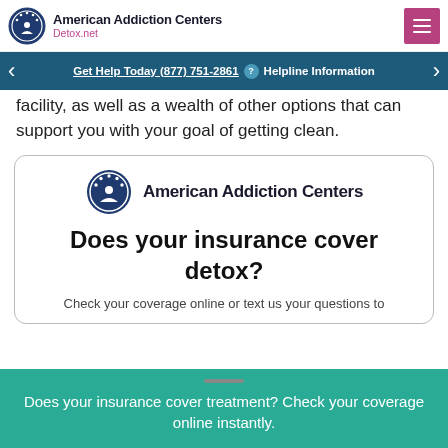American Addiction Centers Detox.net
Get Help Today (877) 751-2861  Helpline Information
facility, as well as a wealth of other options that can support you with your goal of getting clean.
[Figure (logo): American Addiction Centers logo with circular emblem and text]
Does your insurance cover detox?
Check your coverage online or text us your questions to
Does your insurance cover treatment? Check your coverage online instantly.